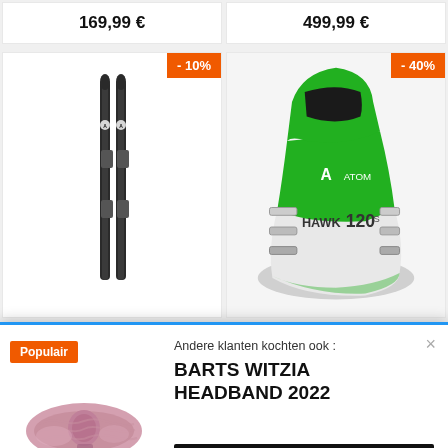169,99 €
499,99 €
[Figure (photo): Pair of black alpine skis with bindings, discount badge -10%]
[Figure (photo): Green and white Atomic Hawk 120S ski boot, discount badge -40%]
Populair
[Figure (photo): Pink knitted headband/ear warmer]
Andere klanten kochten ook :
BARTS WITZIA HEADBAND 2022
BEKIJK PRODUCT